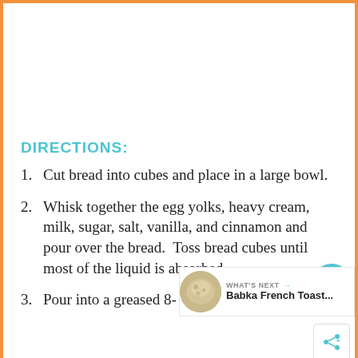DIRECTIONS:
Cut bread into cubes and place in a large bowl.
Whisk together the egg yolks, heavy cream, milk, sugar, salt, vanilla, and cinnamon and pour over the bread.  Toss bread cubes until most of the liquid is absorbed.
Pour into a greased 8- or 9-inch springform